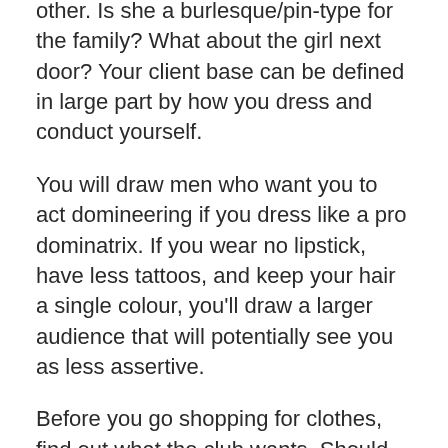other. Is she a burlesque/pin-type for the family? What about the girl next door? Your client base can be defined in large part by how you dress and conduct yourself.
You will draw men who want you to act domineering if you dress like a pro dominatrix. If you wear no lipstick, have less tattoos, and keep your hair a single colour, you'll draw a larger audience that will potentially see you as less assertive.
Before you go shopping for clothes, find out what the club wants. Should you have to change your clothes every hour? Is it possible to wear the same outfit for years before it falls apart? How tall should your heels be? Ellie and Pleasers are two go-to, stripper-friendly shoe brands that strippers depend on.
Everything you wear, be sure it's immune to Jack Daniel's stains... and easy to remove. I stay away from